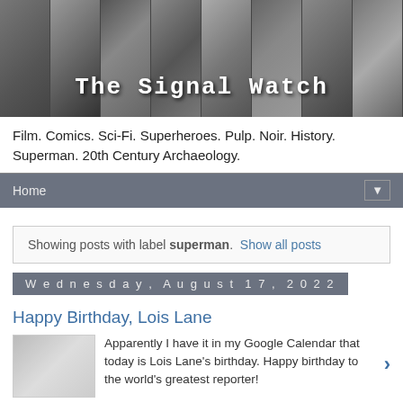[Figure (illustration): The Signal Watch blog header banner, a collage of black-and-white photos (people, scenes) with the blog title overlaid in monospace font]
Film. Comics. Sci-Fi. Superheroes. Pulp. Noir. History. Superman. 20th Century Archaeology.
Home ▼
Showing posts with label superman. Show all posts
Wednesday, August 17, 2022
Happy Birthday, Lois Lane
Apparently I have it in my Google Calendar that today is Lois Lane's birthday. Happy birthday to the world's greatest reporter!